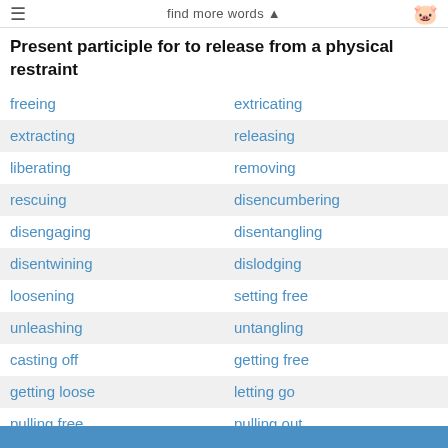find more words ▲
Present participle for to release from a physical restraint
freeing
extricating
extracting
releasing
liberating
removing
rescuing
disencumbering
disengaging
disentangling
disentwining
dislodging
loosening
setting free
unleashing
untangling
casting off
getting free
getting loose
letting go
pulling free
pulling out